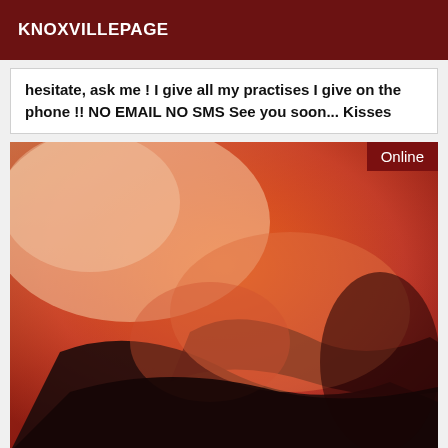KNOXVILLEPAGE
hesitate, ask me ! I give all my practises I give on the phone !! NO EMAIL NO SMS See you soon... Kisses
[Figure (photo): Close-up photograph of a person wearing black lingerie, with warm orange-red lighting. An 'Online' badge appears in the top-right corner of the image.]